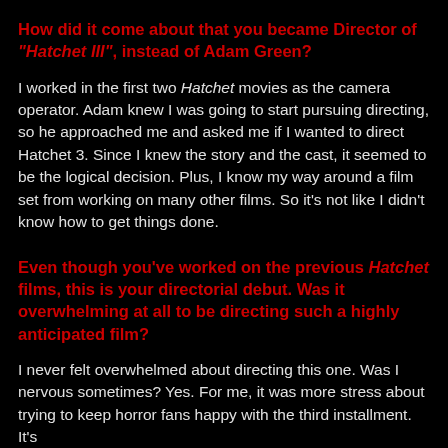How did it come about that you became Director of "Hatchet III", instead of Adam Green?
I worked in the first two Hatchet movies as the camera operator. Adam knew I was going to start pursuing directing, so he approached me and asked me if I wanted to direct Hatchet 3. Since I knew the story and the cast, it seemed to be the logical decision. Plus, I know my way around a film set from working on many other films. So it's not like I didn't know how to get things done.
Even though you've worked on the previous Hatchet films, this is your directorial debut. Was it overwhelming at all to be directing such a highly anticipated film?
I never felt overwhelmed about directing this one. Was I nervous sometimes? Yes. For me, it was more stress about trying to keep horror fans happy with the third installment. It's